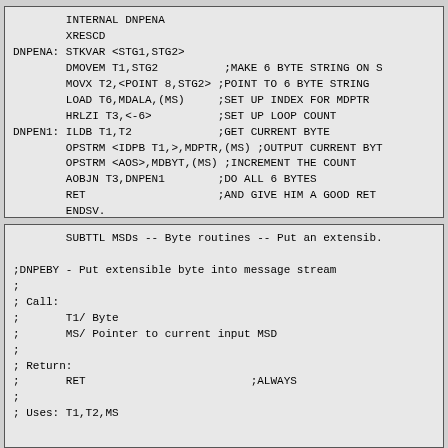INTERNAL DNPENA
        XRESCD
DNPENA: STKVAR <STG1,STG2>
        DMOVEM T1,STG2          ;MAKE 6 BYTE STRING ON S
        MOVX T2,<POINT 8,STG2> ;POINT TO 6 BYTE STRING
        LOAD T6,MDALA,(MS)     ;SET UP INDEX FOR MDPTR
        HRLZI T3,<-6>          ;SET UP LOOP COUNT
DNPEN1: ILDB T1,T2             ;GET CURRENT BYTE
        OPSTRM <IDPB T1,>,MDPTR,(MS) ;OUTPUT CURRENT BYT
        OPSTRM <AOS>,MDBYT,(MS) ;INCREMENT THE COUNT
        AOBJN T3,DNPEN1        ;DO ALL 6 BYTES
        RET                    ;AND GIVE HIM A GOOD RET
        ENDSV.
SUBTTL MSDs -- Byte routines -- Put an extensib.

;DNPEBY - Put extensible byte into message stream
;
; Call:
;       T1/ Byte
;       MS/ Pointer to current input MSD
;
; Return:
;       RET                         ;ALWAYS
;
; Uses: T1,T2,MS